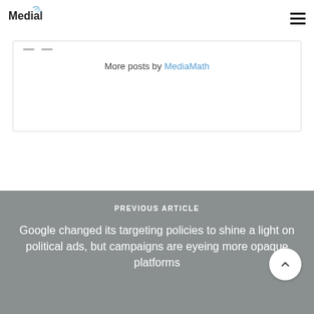MediaMath
More posts by MediaMath
PREVIOUS ARTICLE
Google changed its targeting policies to shine a light on political ads, but campaigns are eyeing more opaque platforms